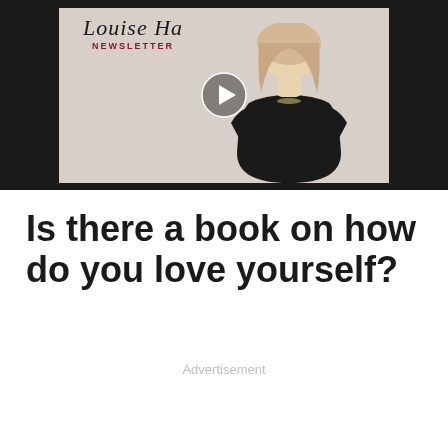[Figure (screenshot): Video thumbnail showing a woman in black clothing against a light background with 'Louise Ha... NEWSLETTER' text overlay and a play button]
Is there a book on how do you love yourself?
Advertisement